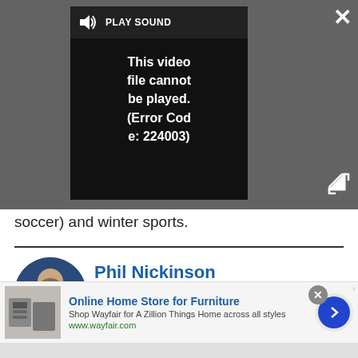[Figure (screenshot): Video player overlay showing error message: 'This video file cannot be played. (Error Code: 224003)' with PLAY SOUND button and close/expand controls on dark grey background]
soccer) and winter sports.
Phil Nickinson
[Figure (other): Social media icons: Facebook (blue), Twitter (cyan), Email (dark), Instagram (pink/red), LinkedIn (blue)]
Phil spent his 20s in the newsroom of the
[Figure (screenshot): Advertisement banner: Online Home Store for Furniture - Shop Wayfair for A Zillion Things Home across all styles - www.wayfair.com]